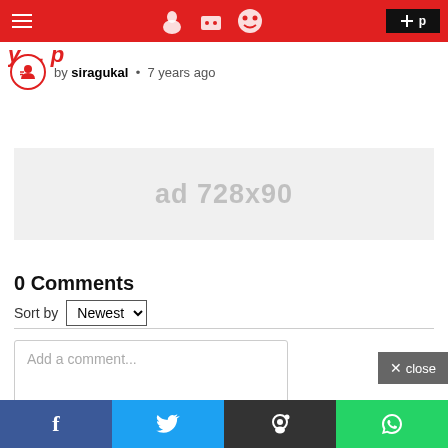Navigation bar with hamburger menu, site icons, and login button
by siragukal • 7 years ago
[Figure (other): Ad placeholder banner 728x90]
0 Comments
Sort by Newest
Add a comment...
Share bar with Facebook, Twitter, Reddit, WhatsApp buttons